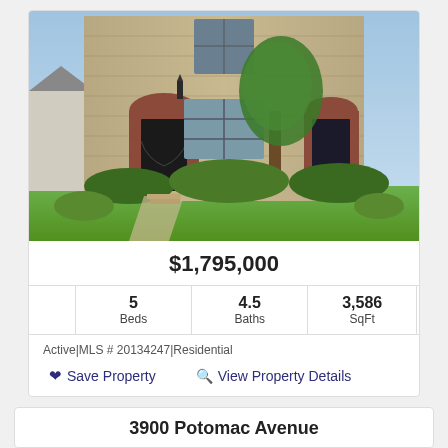[Figure (photo): Exterior photo of a two-story stone and brick house with arched doorway, decorative iron door, large tree in front, and well-landscaped lawn.]
$1,795,000
|  | Beds | Baths | SqFt |  |
| --- | --- | --- | --- | --- |
|  | 5 | 4.5 | 3,586 |  |
Active|MLS # 20134247|Residential
Save Property   View Property Details
3900 Potomac Avenue